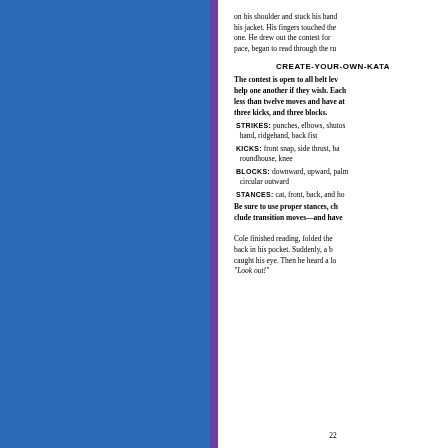[Figure (illustration): Blue illustrated book cover/page left half with purple spine strip]
on his shoulder and stuck his hand inside his jacket. His fingers touched the one. He drew out the contest form at pace, began to read through the ru
CREATE-YOUR-OWN-KATA
The contest is open to all belt lev help one another if they wish. Each less than twelve moves and have at three kicks, and three blocks.
STRIKES: punches, elbows, shutos hand, ridgehand, back fist
KICKS: front snap, side thrust, ba roundhouse, knee
BLOCKS: downward, upward, palm circular outward
STANCES: cat, front, back, and ho
Be sure to use proper stances, ch clude transition moves—and have
Cole finished reading, folded the back in his pocket. Suddenly, a b caught his eye. Then he heard a lo "Look out!"
22